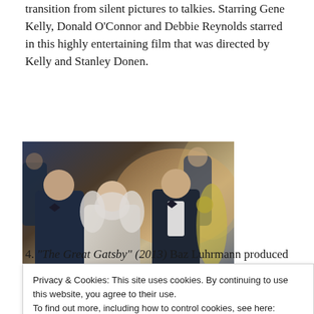transition from silent pictures to talkies. Starring Gene Kelly, Donald O'Connor and Debbie Reynolds starred in this highly entertaining film that was directed by Kelly and Stanley Donen.
[Figure (photo): A scene from a film showing people in formal attire at what appears to be a grand party, with a woman in a feathered dress in the center and men in tuxedos around her.]
4. “The Great Gatsby” (2013) Baz Luhrmann produced
Privacy & Cookies: This site uses cookies. By continuing to use this website, you agree to their use.
To find out more, including how to control cookies, see here: Cookie Policy